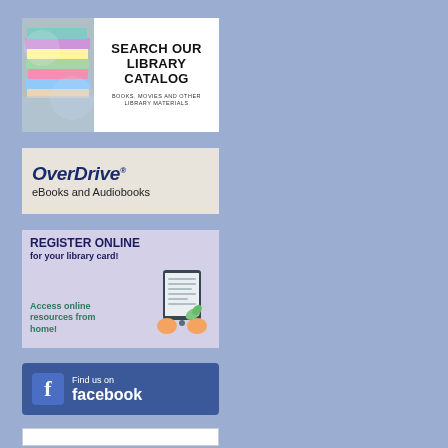[Figure (infographic): Search Our Library Catalog banner with stack of books photo on left and bold text on white background: SEARCH OUR LIBRARY CATALOG / BOOKS, MOVIES AND OTHER LIBRARY MATERIALS]
[Figure (infographic): OverDrive logo banner on beige/tan background with italic dark blue OverDrive text and subtitle: eBooks and Audiobooks]
[Figure (infographic): Register Online for your library card banner on lavender background with tablet illustration and text: REGISTER ONLINE for your library card! / Access online resources from home!]
[Figure (infographic): Find us on Facebook banner button with Facebook blue background, f logo icon, and white text: Find us on facebook]
[Figure (infographic): Partial bottom banner, white background, partially visible]